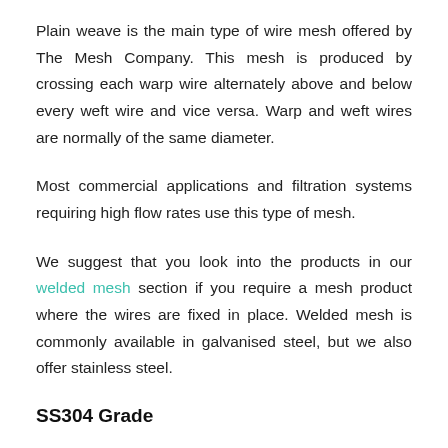Plain weave is the main type of wire mesh offered by The Mesh Company. This mesh is produced by crossing each warp wire alternately above and below every weft wire and vice versa. Warp and weft wires are normally of the same diameter.
Most commercial applications and filtration systems requiring high flow rates use this type of mesh.
We suggest that you look into the products in our welded mesh section if you require a mesh product where the wires are fixed in place. Welded mesh is commonly available in galvanised steel, but we also offer stainless steel.
SS304 Grade